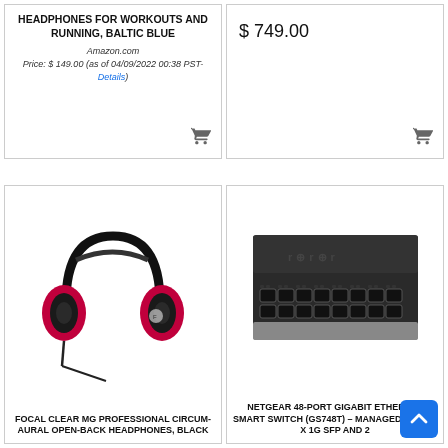HEADPHONES FOR WORKOUTS AND RUNNING, BALTIC BLUE
Amazon.com
Price: $ 149.00 (as of 04/09/2022 00:38 PST- Details)
256GB SSD – SHADOW BLACK
$ 749.00
[Figure (photo): Focal Clear MG professional headphones, open-back, black and red/magenta ear cups]
FOCAL CLEAR MG PROFESSIONAL CIRCUM-AURAL OPEN-BACK HEADPHONES, BLACK
[Figure (photo): NETGEAR 48-port gigabit Ethernet smart switch (GS748T), close-up of ports]
NETGEAR 48-PORT GIGABIT ETHERNET SMART SWITCH (GS748T) – MANAGED, WITH 2 X 1G SFP AND 2